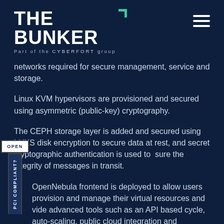THE BUNKER — Part of the CYBERFORT group
networks required for secure management, service and storage.
Linux KVM hypervisors are provisioned and secured using asymmetric (public-key) cryptography.
The CEPH storage layer is added and secured using LUKS disk encryption to secure data at rest, and secret cryptographic authentication is used to sure the integrity of messages in transit.
OpenNebula frontend is deployed to allow users provision and manage their virtual resources and vide advanced tools such as an API based cycle, auto-scaling, public cloud integration and hentication, further secured with nginx and per r digital certificates and/or identity